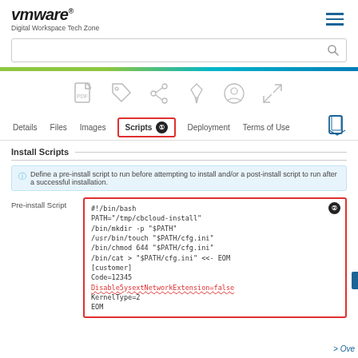VMware Digital Workspace Tech Zone
[Figure (screenshot): Navigation tab bar with Scripts tab highlighted in red border, showing Details, Files, Images, Scripts (active), Deployment, Terms of Use tabs]
Install Scripts
Define a pre-install script to run before attempting to install and/or a post-install script to run after a successful installation.
Pre-install Script
#!/bin/bash
PATH="/tmp/cbcloud-install"
/bin/mkdir -p "$PATH"
/usr/bin/touch "$PATH/cfg.ini"
/bin/chmod 644 "$PATH/cfg.ini"
/bin/cat > "$PATH/cfg.ini" <<- EOM
[customer]
Code=12345
Disable5ysextNetworkExtension=false
KernelType=2
EOM